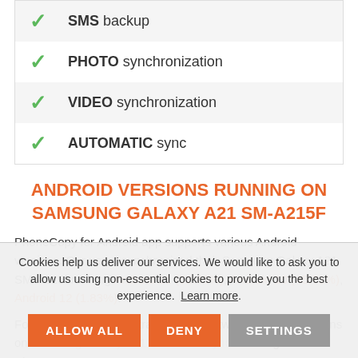SMS backup
PHOTO synchronization
VIDEO synchronization
AUTOMATIC sync
ANDROID VERSIONS RUNNING ON SAMSUNG GALAXY A21 SM-A215F
PhoneCopy for Android app supports various Android versions. Our users synchronized their Samsung Galaxy A21 SM-A215f running Android 11 (52.46%), Android 10 (45.71%), Android 12 (1.83%).
Following pie chart illustrates share between Android versions on Samsung Galaxy A21 SM-A215f synchronizing with PhoneCopy.
Cookies help us deliver our services. We would like to ask you to allow us using non-essential cookies to provide you the best experience. Learn more.